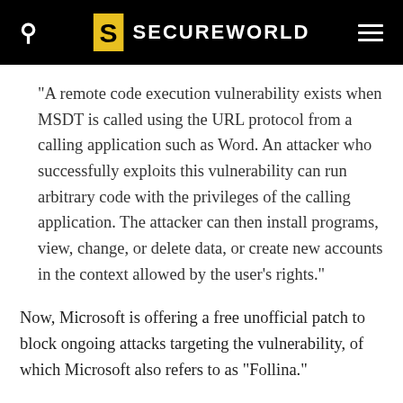SECUREWORLD
"A remote code execution vulnerability exists when MSDT is called using the URL protocol from a calling application such as Word. An attacker who successfully exploits this vulnerability can run arbitrary code with the privileges of the calling application. The attacker can then install programs, view, change, or delete data, or create new accounts in the context allowed by the user's rights."
Now, Microsoft is offering a free unofficial patch to block ongoing attacks targeting the vulnerability, of which Microsoft also refers to as "Follina."